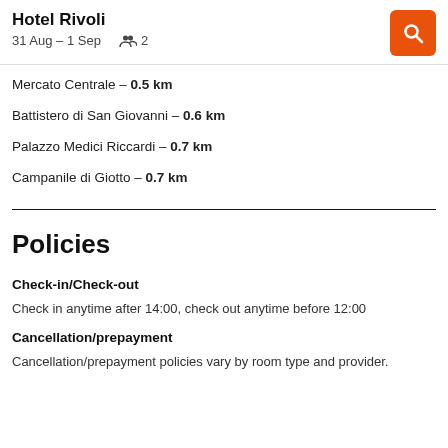Hotel Rivoli
31 Aug – 1 Sep   2
Mercato Centrale – 0.5 km
Battistero di San Giovanni – 0.6 km
Palazzo Medici Riccardi – 0.7 km
Campanile di Giotto – 0.7 km
Policies
Check-in/Check-out
Check in anytime after 14:00, check out anytime before 12:00
Cancellation/prepayment
Cancellation/prepayment policies vary by room type and provider.